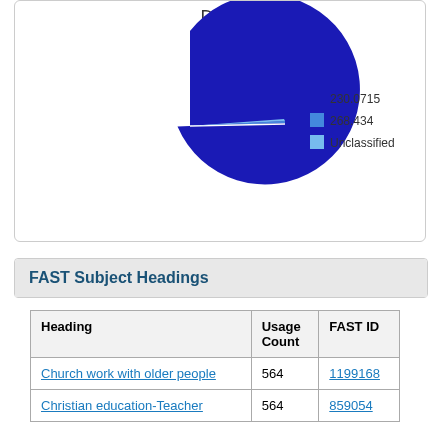[Figure (pie-chart): DDC]
FAST Subject Headings
| Heading | Usage Count | FAST ID |
| --- | --- | --- |
| Church work with older people | 564 | 1199168 |
| Christian education-Teacher | 564 | 859054 |